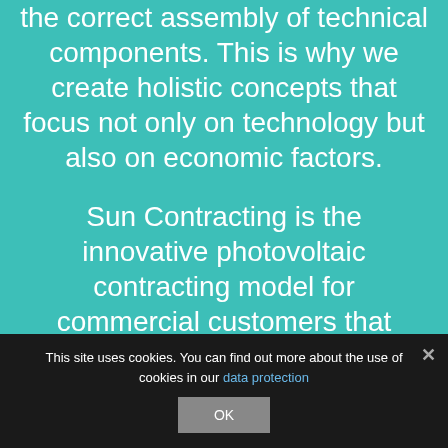the correct assembly of technical components. This is why we create holistic concepts that focus not only on technology but also on economic factors.
Sun Contracting is the innovative photovoltaic contracting model for commercial customers that combines renewable energy generation with cost reduction. You benefit from clean solar power, a stable and long-term energy supply
This site uses cookies. You can find out more about the use of cookies in our data protection